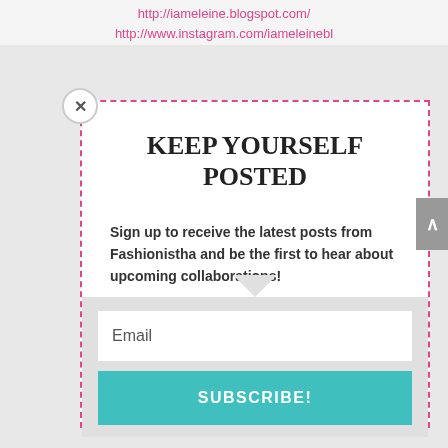http://iameleine.blogspot.com/
http://www.instagram.com/iameleinebl
KEEP YOURSELF POSTED
Sign up to receive the latest posts from Fashionistha and be the first to hear about upcoming collaborations!
Email
SUBSCRIBE!